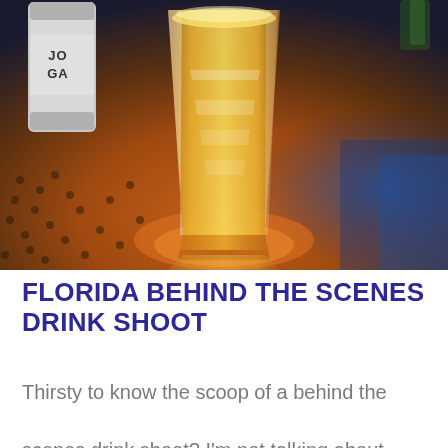[Figure (photo): A tall glass filled with an orange/yellow iced drink (likely a beer or cocktail) sitting on a reflective metallic surface with colorful blue and brown tones. In the background, a silver can partially visible with text reading 'GA' is seen. The surface has a hammered or perforated texture with light reflections.]
FLORIDA BEHIND THE SCENES DRINK SHOOT
Thirsty to know the scoop of a behind the scenes drink shoot? I'm not talking about